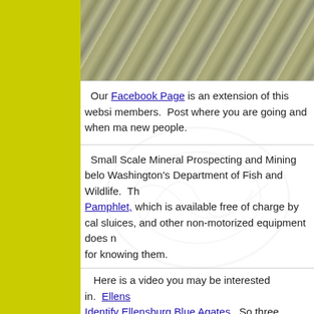[Figure (photo): Photo of water and rocks or minerals, top strip of the page]
Our Facebook Page is an extension of this website members. Post where you are going and when ma new people.
Small Scale Mineral Prospecting and Mining belo Washington's Department of Fish and Wildlife. Th Pamphlet, which is available free of charge by cal sluices, and other non-motorized equipment does n for knowing them.
Here is a video you may be interested in. Ellens Identify Ellensburg Blue Agates So three discuss Claim where Ellensburg is Found. Yes it is a clai times. I was there several places to go looking for ellensburg blue agate. Not as valuable as real blue look for. Also interesting to note. The deep blue